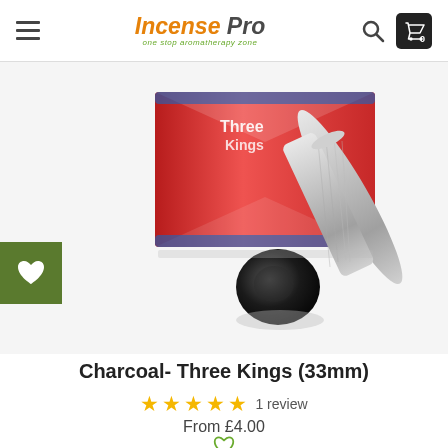Incense Pro — one stop aromatherapy zone
[Figure (photo): Product photo of charcoal Three Kings 33mm: red box with logo, silver foil roll and black charcoal disc on white/light grey background]
Charcoal- Three Kings (33mm)
★★★★★ 1 review
From £4.00
Add to Cart